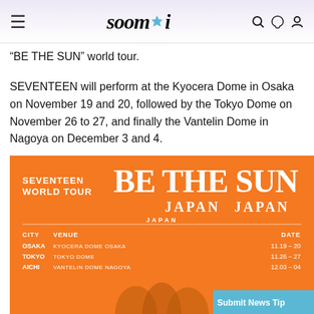soompi
"BE THE SUN" world tour.
SEVENTEEN will perform at the Kyocera Dome in Osaka on November 19 and 20, followed by the Tokyo Dome on November 26 to 27, and finally the Vantelin Dome in Nagoya on December 3 and 4.
[Figure (infographic): Orange promotional flyer for SEVENTEEN WORLD TOUR BE THE SUN JAPAN, showing tour dates: OSAKA KYOCERA DOME OSAKA 11.19-20, TOKYO TOKYO DOME 11.26-27, AICHI VANTELIN DOME NAGOYA 12.03-04, with group photo at bottom]
Submit News Tip